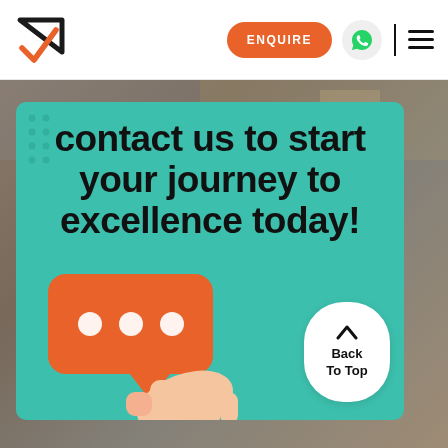[Figure (logo): Orange checkmark arrow logo]
[Figure (other): Orange ENQUIRE button, WhatsApp icon button, vertical divider, and hamburger menu icon in navigation bar]
[Figure (photo): Background photo of what appears to be a workshop or industrial space, darkened]
contact us to start your journey to excellence today!
[Figure (illustration): 3D illustration of an orange speech bubble with three white dots held by a hand]
[Figure (other): Back To Top button — white rounded pill shape with upward arrow and text 'Back To Top']